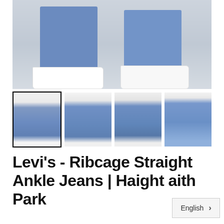[Figure (photo): Main product image showing close-up of Levi's Ribcage Straight Ankle Jeans on a model, cropped at thigh level showing blue denim legs and white sneakers against a light background]
[Figure (photo): Four thumbnail product images of Levi's Ribcage Straight Ankle Jeans showing front, side, back, and waist close-up views. First thumbnail is selected with a black border.]
Levi's - Ribcage Straight Ankle Jeans | Haight and Ashbury